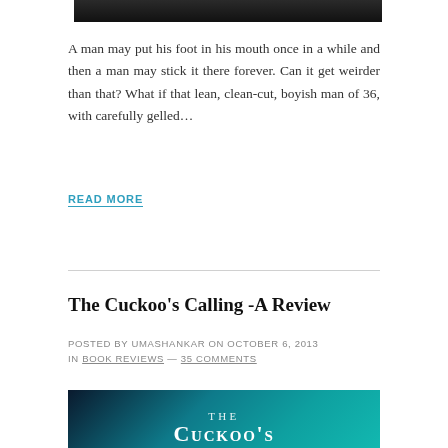[Figure (photo): Top portion of a book cover image, dark background]
A man may put his foot in his mouth once in a while and then a man may stick it there forever. Can it get weirder than that? What if that lean, clean-cut, boyish man of 36, with carefully gelled…
READ MORE
The Cuckoo's Calling -A Review
POSTED BY UMASHANKAR ON OCTOBER 6, 2013 IN BOOK REVIEWS — 35 COMMENTS
[Figure (photo): Book cover of The Cuckoo's Calling showing teal/dark blue background with white title text]